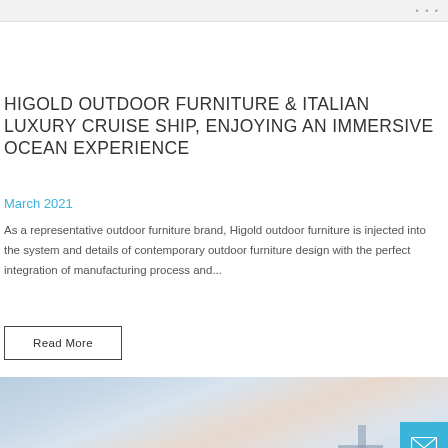browser navigation bar
HIGOLD OUTDOOR FURNITURE & ITALIAN LUXURY CRUISE SHIP, ENJOYING AN IMMERSIVE OCEAN EXPERIENCE
March 2021
As a representative outdoor furniture brand, Higold outdoor furniture is injected into the system and details of contemporary outdoor furniture design with the perfect integration of manufacturing process and...
Read More
[Figure (photo): Sky and ocean horizon photo with soft cloudy sky, warm sunset tones, and a partial view of a cruise ship structure at bottom right. A blue mail/contact button overlay is in the bottom right corner.]